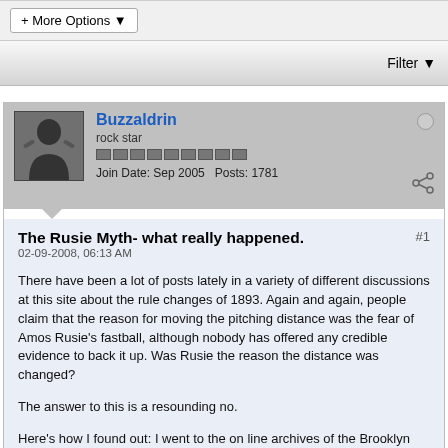+ More Options ▼
Filter ▼
Buzzaldrin
rock star
Join Date: Sep 2005  Posts: 1781
The Rusie Myth- what really happened.
02-09-2008, 06:13 AM
There have been a lot of posts lately in a variety of different discussions at this site about the rule changes of 1893. Again and again, people claim that the reason for moving the pitching distance was the fear of Amos Rusie's fastball, although nobody has offered any credible evidence to back it up. Was Rusie the reason the distance was changed?
The answer to this is a resounding no.
Here's how I found out: I went to the on line archives of the Brooklyn Eagle, and did some research, and I want to present to you, the that...